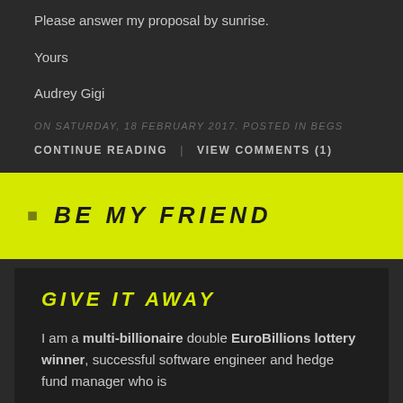Please answer my proposal by sunrise.
Yours
Audrey Gigi
ON SATURDAY, 18 FEBRUARY 2017. POSTED IN BEGS
CONTINUE READING | VIEW COMMENTS (1)
BE MY FRIEND
GIVE IT AWAY
I am a multi-billionaire double EuroBillions lottery winner, successful software engineer and hedge fund manager who is